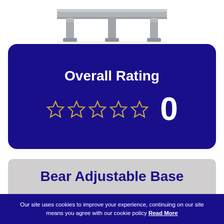[Figure (photo): Product image of a metal adjustable bed base frame, showing legs and steel frame bottom portion against white background]
Overall Rating
[Figure (other): 5 empty star rating icons with the number 0 to the right, on dark blue background]
Bear Adjustable Base
Our site uses cookies to improve your experience, continuing on our site means you agree with our cookie policy Read More